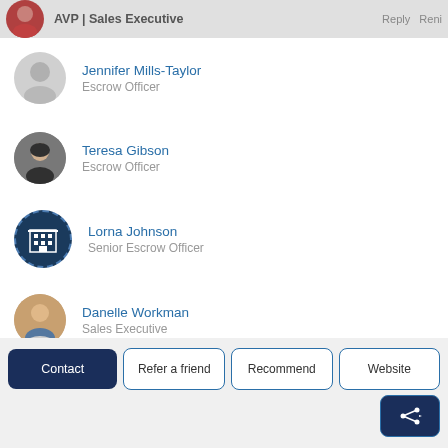AVP | Sales Executive
Jennifer Mills-Taylor — Escrow Officer
Teresa Gibson — Escrow Officer
Lorna Johnson — Senior Escrow Officer
Danelle Workman — Sales Executive
Nancy Wilcoxon — Escrow Officer
Contact | Refer a friend | Recommend | Website